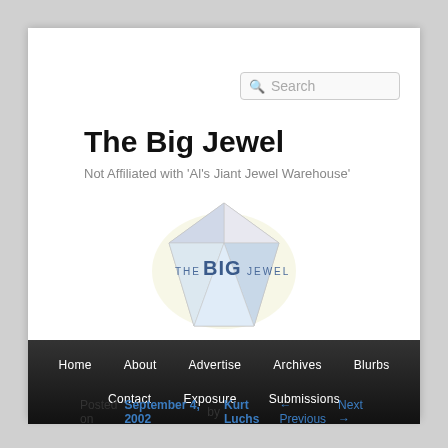Search
The Big Jewel
Not Affiliated with 'Al's Jiant Jewel Warehouse'
[Figure (logo): The Big Jewel diamond logo with text 'THE BIG JEWEL' overlaid on a diamond gem illustration]
Home  About  Advertise  Archives  Blurbs  Contact  Exposure  Submissions
Posted on September 4, 2002 by Kurt Luchs  ← Previous  Next →